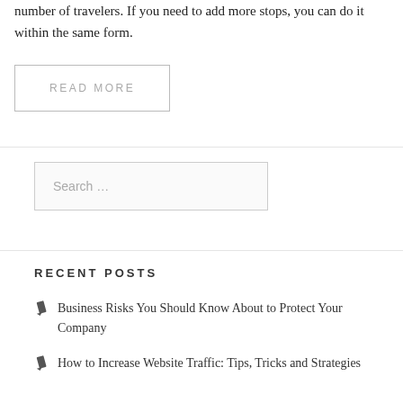number of travelers. If you need to add more stops, you can do it within the same form.
READ MORE
Search …
RECENT POSTS
Business Risks You Should Know About to Protect Your Company
How to Increase Website Traffic: Tips, Tricks and Strategies